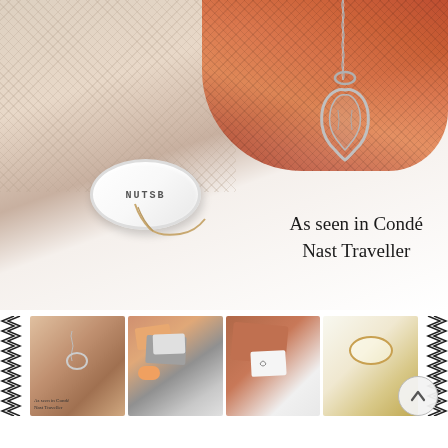[Figure (photo): Main product photo showing a white ceramic ring/bracelet with 'NUTSB' text, a silver pendant necklace with heart/abstract shape on a chain, set against a beige mesh textile background with orange-red fabric draping. Text overlay reads 'As seen in Condé Nast Traveller'.]
As seen in Condé Nast Traveller
[Figure (photo): Thumbnail strip showing four product images: 1) Silver pendant necklace with coral/floral background, 2) Peach/terracotta colored packaging with cards and accessories, 3) Terracotta card with small silver charm, 4) White/gold ring or accessory on light background. Zigzag border decorations on left and right sides. A circular back-to-top arrow button overlaps the rightmost thumbnail.]